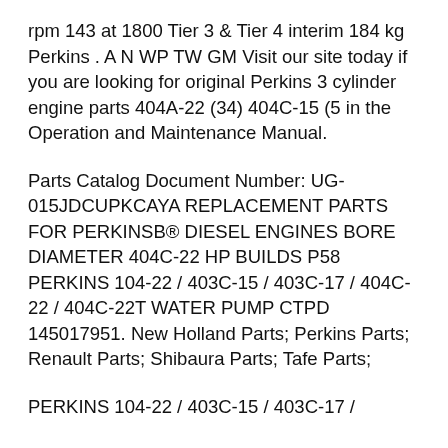rpm 143 at 1800 Tier 3 & Tier 4 interim 184 kg Perkins . A N WP TW GM Visit our site today if you are looking for original Perkins 3 cylinder engine parts 404A-22 (34) 404C-15 (5 in the Operation and Maintenance Manual.
Parts Catalog Document Number: UG-015JDCUPKCAYA REPLACEMENT PARTS FOR PERKINSB® DIESEL ENGINES BORE DIAMETER 404C-22 HP BUILDS P58 PERKINS 104-22 / 403C-15 / 403C-17 / 404C-22 / 404C-22T WATER PUMP CTPD 145017951. New Holland Parts; Perkins Parts; Renault Parts; Shibaura Parts; Tafe Parts;
PERKINS 104-22 / 403C-15 / 403C-17 /